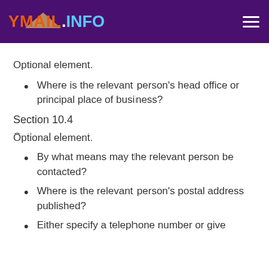YMAIL.INFO
Optional element.
Where is the relevant person's head office or principal place of business?
Section 10.4
Optional element.
By what means may the relevant person be contacted?
Where is the relevant person's postal address published?
Either specify a telephone number or give